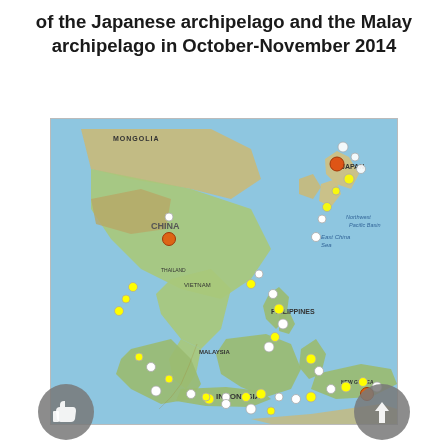of the Japanese archipelago and the Malay archipelago in October-November 2014
[Figure (map): Map of East Asia and Southeast Asia showing seismic activity (earthquake epicenters) around the Japanese archipelago and the Malay archipelago in October-November 2014. Earthquake markers appear as circles colored white, yellow, and orange/red indicating different magnitudes or depths, concentrated along tectonic plate boundaries including Japan, the Philippines, Indonesia, and surrounding regions.]